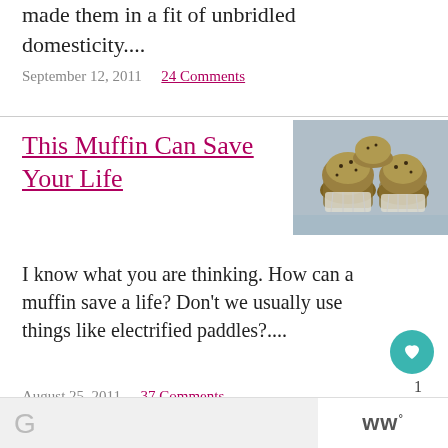made them in a fit of unbridled domesticity....
September 12, 2011  24 Comments
This Muffin Can Save Your Life
[Figure (photo): Photo of several bran/seeded muffins in paper liners, light blue background]
I know what you are thinking. How can a muffin save a life? Don't we usually use things like electrified paddles?....
August 25, 2011  37 Comments
[Figure (logo): WW logo with superscript degree symbol]
[Figure (logo): Partial G letter, likely Google or other logo]